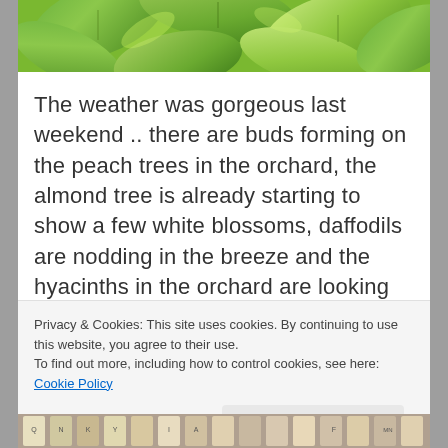[Figure (photo): Close-up photo of green leaves/foliage at the top of the page]
The weather was gorgeous last weekend .. there are buds forming on the peach trees in the orchard, the almond tree is already starting to show a few white blossoms, daffodils are nodding in the breeze and the hyacinths in the orchard are looking pink and pretty. How good is it standing back and observing? Nearly as good as sowing seeds … LOL
Privacy & Cookies: This site uses cookies. By continuing to use this website, you agree to their use.
To find out more, including how to control cookies, see here: Cookie Policy
Close and accept
[Figure (photo): Partial photo at the bottom of the page showing seed packets or garden items]